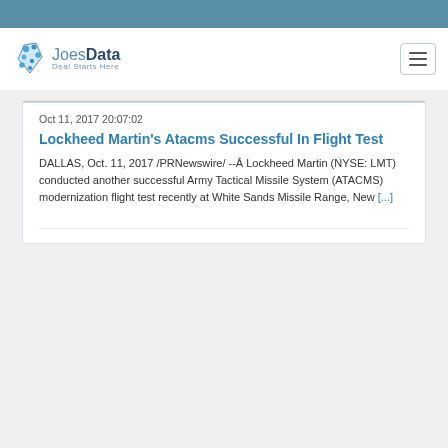JoesData — Deal Starts Here
Oct 11, 2017 20:07:02
Lockheed Martin's Atacms Successful In Flight Test
DALLAS, Oct. 11, 2017 /PRNewswire/ --Â Lockheed Martin (NYSE: LMT) conducted another successful Army Tactical Missile System (ATACMS) modernization flight test recently at White Sands Missile Range, New [...]